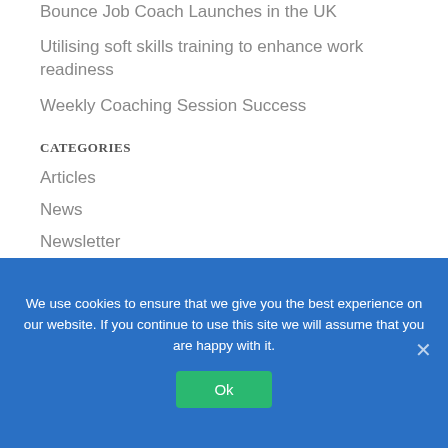Bounce Job Coach Launches in the UK
Utilising soft skills training to enhance work readiness
Weekly Coaching Session Success
CATEGORIES
Articles
News
Newsletter
RSAS
We use cookies to ensure that we give you the best experience on our website. If you continue to use this site we will assume that you are happy with it.